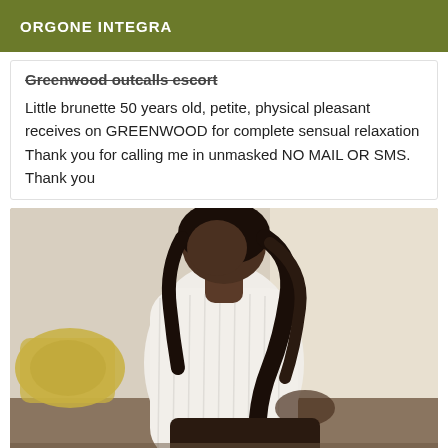ORGONE INTEGRA
Greenwood outcalls escort
Little brunette 50 years old, petite, physical pleasant receives on GREENWOOD for complete sensual relaxation Thank you for calling me in unmasked NO MAIL OR SMS. Thank you
[Figure (photo): A woman with long curly dark hair wearing a white ribbed long-sleeve top, seated and posing indoors near a yellow pillow and light-colored wall.]